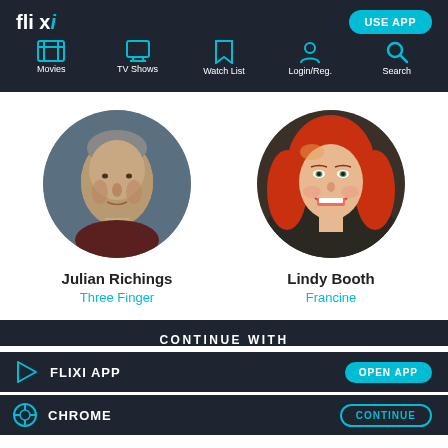flixi — USE APP navigation: Movies, TV Shows, Watch List, Login/Reg., Search
[Figure (photo): Circular portrait photo of Julian Richings, a thin older man with gaunt features against a dark blue background]
Julian Richings
Three Finger
[Figure (photo): Circular portrait photo of Lindy Booth, a woman with red/auburn wavy hair, smiling, against a dark background]
Lindy Booth
Francine
CONTINUE WITH
FLIXI APP — OPEN APP
CHROME — CONTINUE